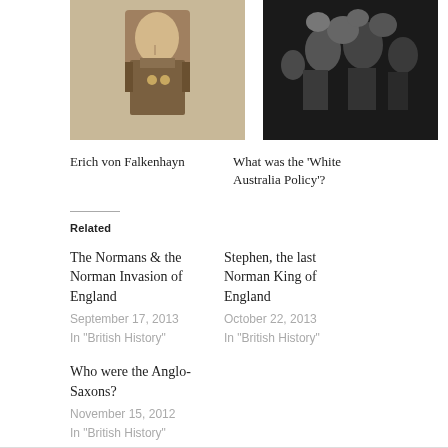[Figure (photo): Black and white / sepia portrait photograph of Erich von Falkenhayn in military uniform]
Erich von Falkenhayn
[Figure (photo): Black and white photograph of a crowd scene related to the White Australia Policy]
What was the ‘White Australia Policy’?
Related
The Normans & the Norman Invasion of England
September 17, 2013
In "British History"
Stephen, the last Norman King of England
October 22, 2013
In "British History"
Who were the Anglo-Saxons?
November 15, 2012
In "British History"